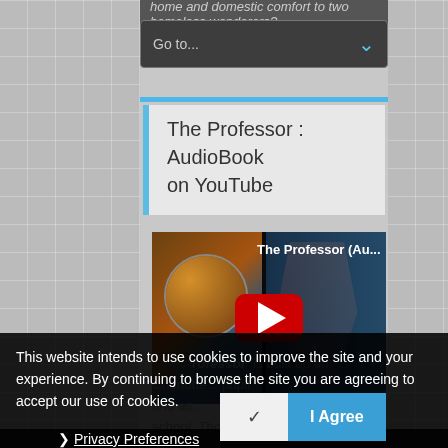home and domestic comfort to two homeless wanderers?
[Figure (screenshot): Go to... dropdown navigation bar with blue chevron arrow on dark background]
The Professor : AudioBook on YouTube
[Figure (screenshot): YouTube video thumbnail showing 'The Professor (Au...' with red play button and circular book cover image]
This website intends to use cookies to improve the site and your experience. By continuing to browse the site you are agreeing to accept our use of cookies.
❯ Privacy Preferences
'The Professor' is built up on Charlotte... pupil and as... school. Though most of the
✓  I Agree